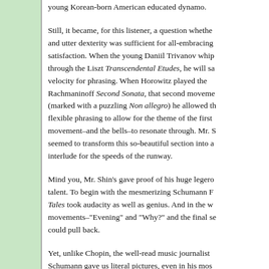young Korean-born American educated dynamo.
Still, it became, for this listener, a question whether and utter dexterity was sufficient for all-embracing satisfaction. When the young Daniil Trivanov whip through the Liszt Transcendental Etudes, he will sa velocity for phrasing. When Horowitz played the Rachmaninoff Second Sonata, that second moveme (marked with a puzzling Non allegro) he allowed th flexible phrasing to allow for the theme of the first movement–and the bells–to resonate through. Mr. S seemed to transform this so-beautiful section into a interlude for the speeds of the runway.
Mind you, Mr. Shin's gave proof of his huge legero talent. To begin with the mesmerizing Schumann F Tales took audacity as well as genius. And in the w movements–"Evening" and "Why?" and the final se could pull back.
Yet, unlike Chopin, the well-read music journalist Schumann gave us literal pictures, even in his mos works. Mr. Shin seemed to ignore that. Oh, what da fingers he gave us in "Dream-Confusions" (my ina translation of "Traumeswirren"), and one felt that discombobulation of the composer. Yet in the midd section, we have a startling contrast, and Mr. Shin